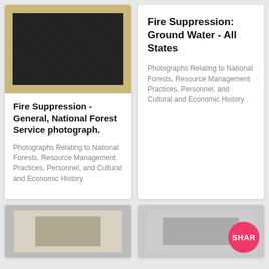[Figure (photo): Black and white National Forest Service photograph showing forest/fire suppression scene, mounted on tan/khaki card]
Fire Suppression - General, National Forest Service photograph.
Photographs Relating to National Forests, Resource Management Practices, Personnel, and Cultural and Economic History
Fire Suppression: Ground Water - All States
Photographs Relating to National Forests, Resource Management Practices, Personnel, and Cultural and Economic History
[Figure (photo): Partial photo visible at bottom left, appears to be a historical black and white photograph]
[Figure (photo): Partial photo visible at bottom right with SHARE button overlay]